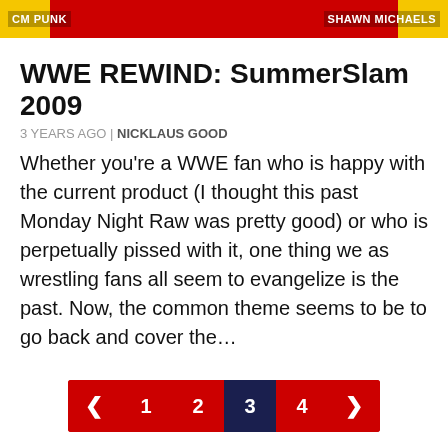[Figure (photo): Banner image showing WWE-themed graphic with text 'CM PUNK' on the left and 'SHAWN MICHAELS' on the right, red and yellow background]
WWE REWIND: SummerSlam 2009
3 YEARS AGO | NICKLAUS GOOD
Whether you’re a WWE fan who is happy with the current product (I thought this past Monday Night Raw was pretty good) or who is perpetually pissed with it, one thing we as wrestling fans all seem to evangelize is the past. Now, the common theme seems to be to go back and cover the…
[Figure (other): Pagination control showing page buttons: left arrow, 1, 2, 3 (active/highlighted in dark navy), 4, right arrow. Red background with white text.]
Follow on Instagram